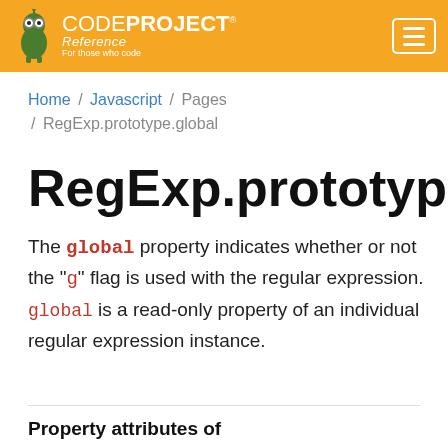CODEPROJECT Reference — For those who code
Home / Javascript / Pages / RegExp.prototype.global
RegExp.prototype.global
The global property indicates whether or not the "g" flag is used with the regular expression. global is a read-only property of an individual regular expression instance.
Property attributes of